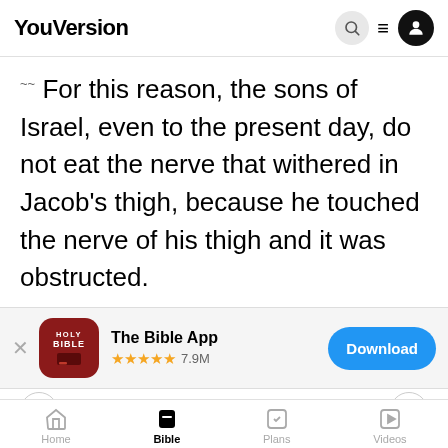YouVersion
For this reason, the sons of Israel, even to the present day, do not eat the nerve that withered in Jacob's thigh, because he touched the nerve of his thigh and it was obstructed.
[Figure (screenshot): App store banner showing The Bible App with Holy Bible icon, 5-star rating, 7.9M reviews, and a Download button]
YouVersion uses cookies to personalize your experience. By using our website, you accept our use of cookies as described in our Privacy Policy.
Home | Bible | Plans | Videos